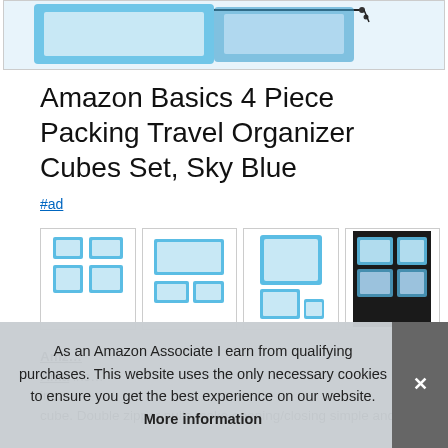[Figure (photo): Partial top view of product image showing sky blue packing cubes or travel organizer on white background]
Amazon Basics 4 Piece Packing Travel Organizer Cubes Set, Sky Blue
#ad
[Figure (photo): Four thumbnail product images showing sky blue packing cubes from different angles: front view of 4 cubes, open cubes showing mesh, stacked cubes group, and cubes packed in luggage]
Amazon Basics 4 Piece Packing Travel Organizer Cubes Set, Sky Blue. Includes 4 packing cubes in various sizes: extra-large measures 17.5 x 12.75 x 3.5 inches; large measures 13.5 x 12.75 x 3.5 inches; medium measures ... cube. Double zipper pulls make opening/closing simple and
As an Amazon Associate I earn from qualifying purchases. This website uses the only necessary cookies to ensure you get the best experience on our website. More information